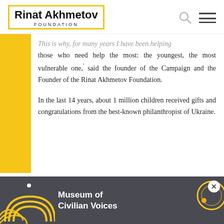Rinat Akhmetov FOUNDATION
This is why, for many years I have been helping those who need help the most: the youngest, the most vulnerable one,' said the founder of the Campaign and the Founder of the Rinat Akhmetov Foundation.
In the last 14 years, about 1 million children received gifts and congratulations from the best-known philanthropist of Ukraine.
Festive New Year Atmosphere for Kids
[Figure (screenshot): Bottom banner for Museum of Civilian Voices with dark grey background, yellow geometric/circle graphics, white dot, orange dot, and a close (X) button]